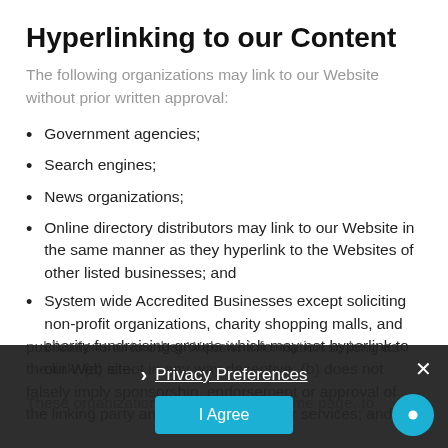Hyperlinking to our Content
The following organizations may link to our Website without prior written approval:
Government agencies;
Search engines;
News organizations;
Online directory distributors may link to our Website in the same manner as they hyperlink to the Websites of other listed businesses; and
System wide Accredited Businesses except soliciting non-profit organizations, charity shopping malls, and charity fundraising groups which may not hyperlink to our Web site.
These organizations may link to our home page, to publications or to other Website information so long as the link: (a) is not in any way deceptive; (b) does not falsely imply sponsorship, endorsement or approval of the linking party and its products and/or services; and